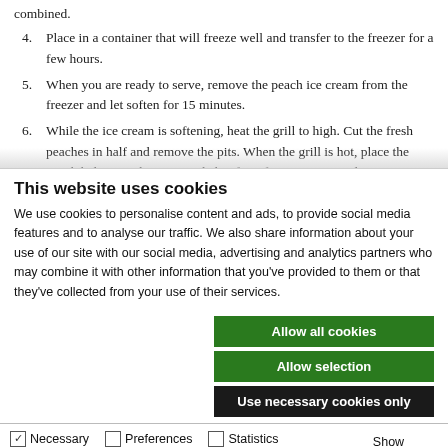4. Place in a container that will freeze well and transfer to the freezer for a few hours.
5. When you are ready to serve, remove the peach ice cream from the freezer and let soften for 15 minutes.
6. While the ice cream is softening, heat the grill to high. Cut the fresh peaches in half and remove the pits. When the grill is hot, place the peach halves on the grate and char for a few minutes until
This website uses cookies
We use cookies to personalise content and ads, to provide social media features and to analyse our traffic. We also share information about your use of our site with our social media, advertising and analytics partners who may combine it with other information that you've provided to them or that they've collected from your use of their services.
Allow all cookies
Allow selection
Use necessary cookies only
Necessary  Preferences  Statistics  Marketing  Show details